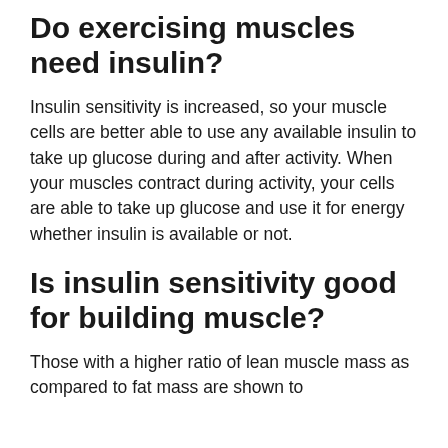Do exercising muscles need insulin?
Insulin sensitivity is increased, so your muscle cells are better able to use any available insulin to take up glucose during and after activity. When your muscles contract during activity, your cells are able to take up glucose and use it for energy whether insulin is available or not.
Is insulin sensitivity good for building muscle?
Those with a higher ratio of lean muscle mass as compared to fat mass are shown to